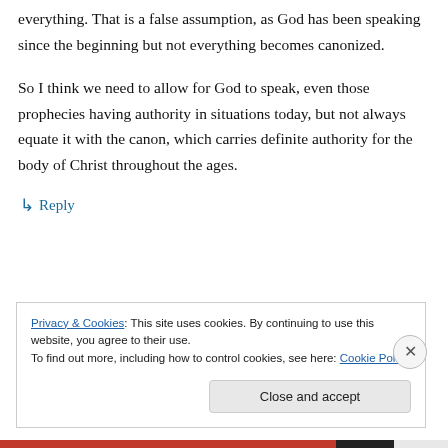everything. That is a false assumption, as God has been speaking since the beginning but not everything becomes canonized.
So I think we need to allow for God to speak, even those prophecies having authority in situations today, but not always equate it with the canon, which carries definite authority for the body of Christ throughout the ages.
↳ Reply
Privacy & Cookies: This site uses cookies. By continuing to use this website, you agree to their use.
To find out more, including how to control cookies, see here: Cookie Policy